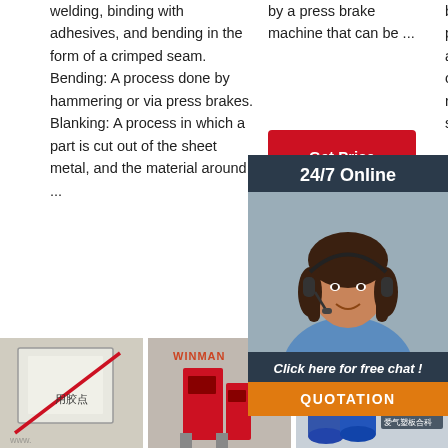welding, binding with adhesives, and bending in the form of a crimped seam. Bending: A process done by hammering or via press brakes. Blanking: A process in which a part is cut out of the sheet metal, and the material around ...
Get Price
Get Price
by a press brake machine that can be ...
Get Price
brands, evidenced by placing first in both product and service quality. It's also on top for machine recommended repair ... LG wa... price B... starts a...
Get
[Figure (infographic): Chat overlay with dark background, agent photo, '24/7 Online' header, 'Click here for free chat!' text, and orange QUOTATION button]
[Figure (photo): Bottom left: product image with Chinese text '用胶点' and watermark]
[Figure (photo): Bottom center: WINMAN branded machine]
[Figure (photo): Bottom right: Blue barrels with TOP diamond logo and Chinese text]